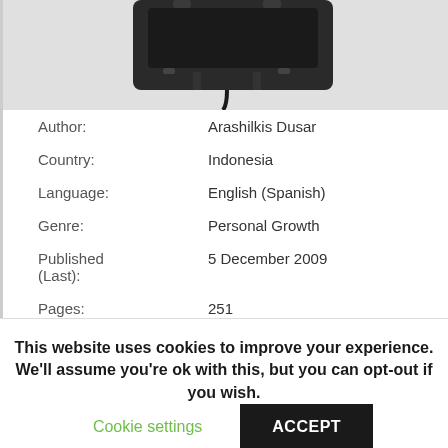[Figure (photo): Partial view of a dark electronic device (book/device cover) shown from below against a light gray background]
| Author: | Arashilkis Dusar |
| Country: | Indonesia |
| Language: | English (Spanish) |
| Genre: | Personal Growth |
| Published (Last): | 5 December 2009 |
| Pages: | 251 |
| PDF File Size: | 5.54 Mb |
| ePub File Size: | 8.35 Mb |
| ISBN: | 602 2 16568 168 4 |
This website uses cookies to improve your experience. We'll assume you're ok with this, but you can opt-out if you wish.
Cookie settings  ACCEPT